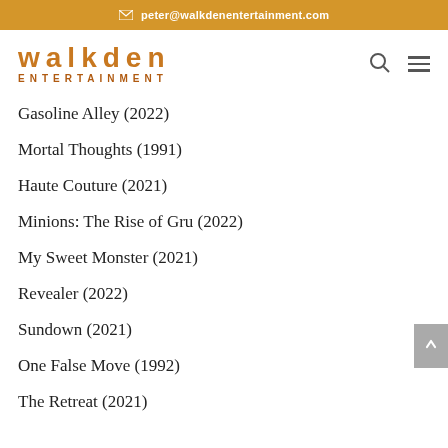peter@walkdenentertainment.com
[Figure (logo): Walkden Entertainment logo with orange 'walkden' text in bold lowercase and 'ENTERTAINMENT' in smaller caps below]
Gasoline Alley (2022)
Mortal Thoughts (1991)
Haute Couture (2021)
Minions: The Rise of Gru (2022)
My Sweet Monster (2021)
Revealer (2022)
Sundown (2021)
One False Move (1992)
The Retreat (2021)